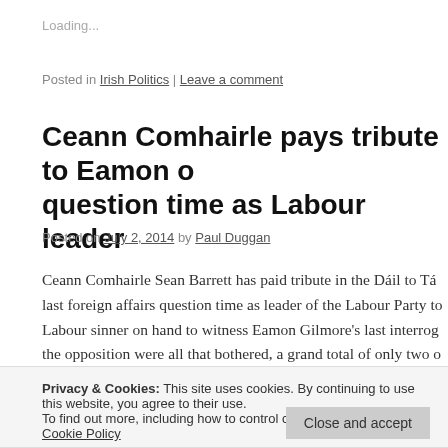Loading...
Posted in Irish Politics | Leave a comment
Ceann Comhairle pays tribute to Eamon question time as Labour leader
Posted on July 2, 2014 by Paul Duggan
Ceann Comhairle Sean Barrett has paid tribute in the Dáil to Tá last foreign affairs question time as leader of the Labour Party to Labour sinner on hand to witness Eamon Gilmore's last interrog the opposition were all that bothered, a grand total of only two o
Privacy & Cookies: This site uses cookies. By continuing to use this website, you agree to their use.
To find out more, including how to control cookies, see here: Cookie Policy
whatever you do". A nice touch from Sean Barrett – who prob